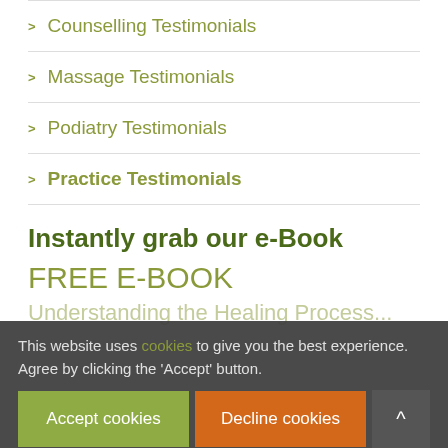> Counselling Testimonials
> Massage Testimonials
> Podiatry Testimonials
> Practice Testimonials
Instantly grab our e-Book
FREE E-BOOK
Understanding the Healing Process...
This website uses cookies to give you the best experience. Agree by clicking the 'Accept' button.
Accept cookies
Decline cookies